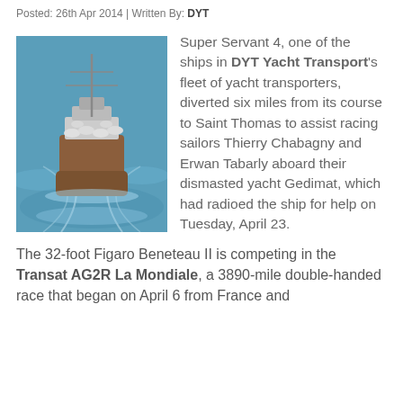Posted: 26th Apr 2014 | Written By: DYT
[Figure (photo): Aerial view of the Super Servant 4 ship carrying yachts, sailing through blue water.]
Super Servant 4, one of the ships in DYT Yacht Transport's fleet of yacht transporters, diverted six miles from its course to Saint Thomas to assist racing sailors Thierry Chabagny and Erwan Tabarly aboard their dismasted yacht Gedimat, which had radioed the ship for help on Tuesday, April 23.
The 32-foot Figaro Beneteau II is competing in the Transat AG2R La Mondiale, a 3890-mile double-handed race that began on April 6 from France and